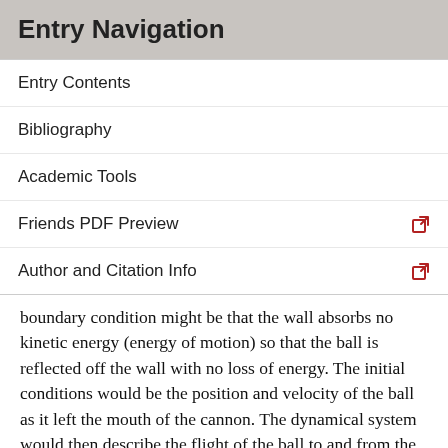Entry Navigation
Entry Contents
Bibliography
Academic Tools
Friends PDF Preview
Author and Citation Info
boundary condition might be that the wall absorbs no kinetic energy (energy of motion) so that the ball is reflected off the wall with no loss of energy. The initial conditions would be the position and velocity of the ball as it left the mouth of the cannon. The dynamical system would then describe the flight of the ball to and from the wall.
Although some popularized discussions of chaos have claimed that it invalidates determinism, there is nothing inconsistent about systems having the property of unique solutions while exhibiting chaotic behavior (part of the